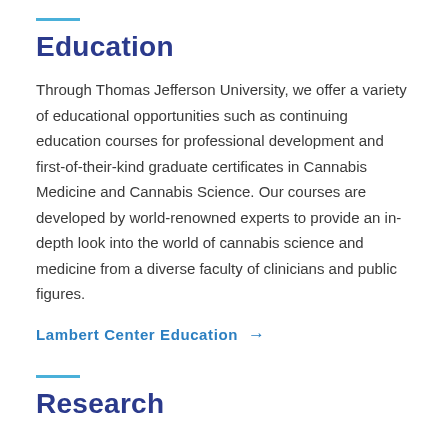Education
Through Thomas Jefferson University, we offer a variety of educational opportunities such as continuing education courses for professional development and first-of-their-kind graduate certificates in Cannabis Medicine and Cannabis Science. Our courses are developed by world-renowned experts to provide an in-depth look into the world of cannabis science and medicine from a diverse faculty of clinicians and public figures.
Lambert Center Education →
Research